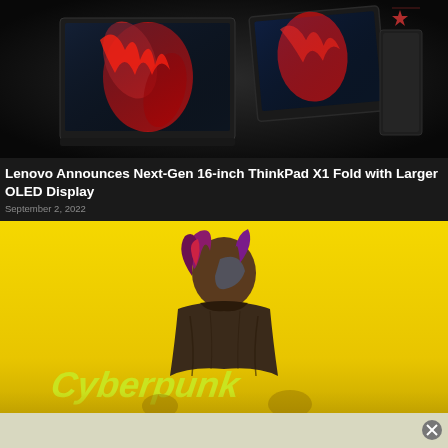[Figure (photo): Lenovo ThinkPad X1 Fold device shown folded and unfolded on dark background with red abstract design on screen]
Lenovo Announces Next-Gen 16-inch ThinkPad X1 Fold with Larger OLED Display
September 2, 2022
[Figure (photo): Cyberpunk 2077 game artwork showing character from behind with red/purple hair on bright yellow background with Cyberpunk logo text]
[Figure (photo): Advertisement banner at the bottom of the page with close/X button]